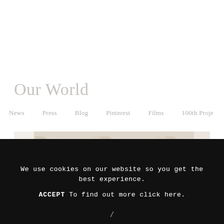Our World
News   Press   Blog   Pinterest   Films   100th Proje
[Figure (illustration): Decorative geometric chevron/arrow pattern in tan and wood tones on a light background, partially faded/whited out.]
We use cookies on our website so you get the best experience.
ACCEPT   To find out more click here.